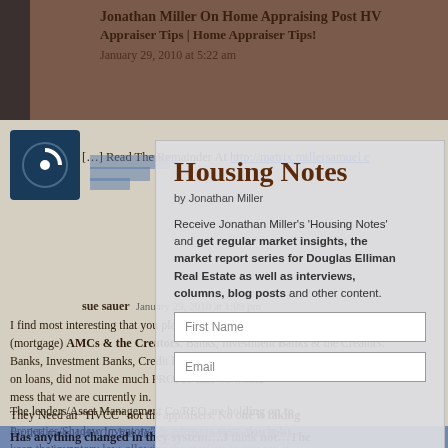Jonathan Miller On Home Appraising Post HVC Appraiser Tips | Home Appraiser Tips!
January 29, 2010 at 5:22 am
[…] Read The Remainder At http://matrix.millersamuel.c
Housing Notes
by Jonathan Miller
Receive Jonathan Miller's 'Housing Notes' and get regular market insights, the market report series for Douglas Elliman Real Estate as well as interviews, columns, blog posts and other content.
First Name
Email
sue sauer   January 29, 2010 at 1:09 pm
I find most interesting that you place the blame on the AMCs & the Creators. Banks, Investment Banks, Credit Rating Agencies on loans, did not make much PROFIT that we would all end up in this mess that we are currently in.
They Need an “HVCC” not the appraisers. No one is taking accountability for this mess!! HVCC has destroyed the Independent Prof… costing the Consumers.
The lenders/Asset Management Co/REO are holding on to “Distressed Properties/Shadow Inventory” & releasing them slowly by design to keep the inventory low, allowing the markets to appear stable.
Has anything changed in they system…I think not…The…